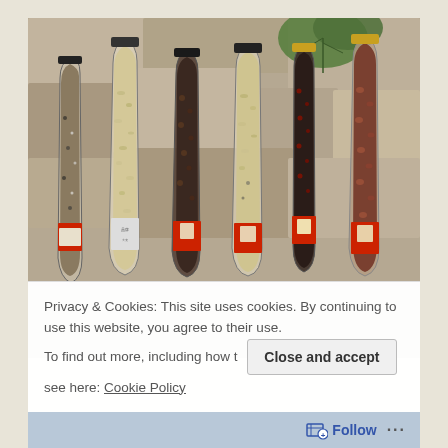[Figure (photo): Six glass bottles filled with various grains, seeds, and legumes (including what appears to be oats, dark beans, mixed grains, and red/brown beans), arranged in a row against a stone wall background with green leaves visible at the top. The bottles have black and gold caps and red labels.]
Privacy & Cookies: This site uses cookies. By continuing to use this website, you agree to their use.
To find out more, including how to control cookies, see here: Cookie Policy
Close and accept
Follow